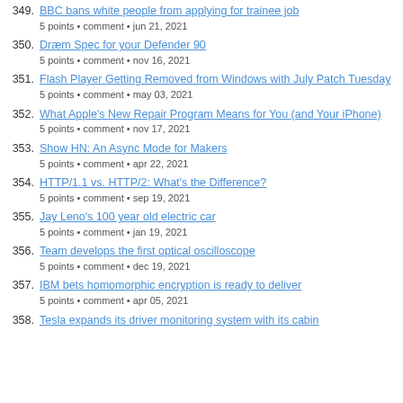349. BBC bans white people from applying for trainee job
5 points • comment • jun 21, 2021
350. Dræm Spec for your Defender 90
5 points • comment • nov 16, 2021
351. Flash Player Getting Removed from Windows with July Patch Tuesday
5 points • comment • may 03, 2021
352. What Apple's New Repair Program Means for You (and Your iPhone)
5 points • comment • nov 17, 2021
353. Show HN: An Async Mode for Makers
5 points • comment • apr 22, 2021
354. HTTP/1.1 vs. HTTP/2: What's the Difference?
5 points • comment • sep 19, 2021
355. Jay Leno's 100 year old electric car
5 points • comment • jan 19, 2021
356. Team develops the first optical oscilloscope
5 points • comment • dec 19, 2021
357. IBM bets homomorphic encryption is ready to deliver
5 points • comment • apr 05, 2021
358. Tesla expands its driver monitoring system with its cabin